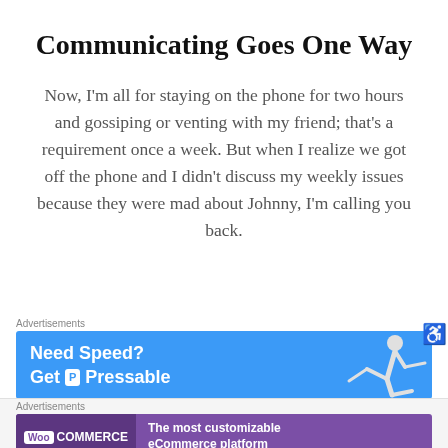Communicating Goes One Way
Now, I'm all for staying on the phone for two hours and gossiping or venting with my friend; that's a requirement once a week. But when I realize we got off the phone and I didn't discuss my weekly issues because they were mad about Johnny, I'm calling you back.
[Figure (screenshot): Advertisement banner for Pressable hosting: 'Need Speed? Get P Pressable' on a blue background with a running figure graphic]
[Figure (screenshot): Advertisement banner for WooCommerce: WooCommerce logo on purple background with text 'The most customizable eCommerce platform']